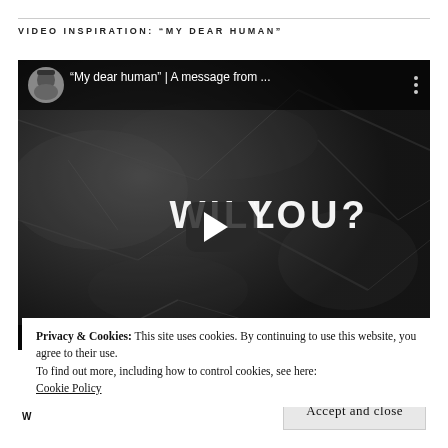VIDEO INSPIRATION: "MY DEAR HUMAN"
[Figure (screenshot): Video thumbnail screenshot showing a YouTube-style video player with a dark crumpled paper background, text 'WILL YOU?' overlaid with a play button in center, and a channel avatar and title '"My dear human" | A message from ...' in the top bar.]
Privacy & Cookies: This site uses cookies. By continuing to use this website, you agree to their use.
To find out more, including how to control cookies, see here: Cookie Policy
Accept and close